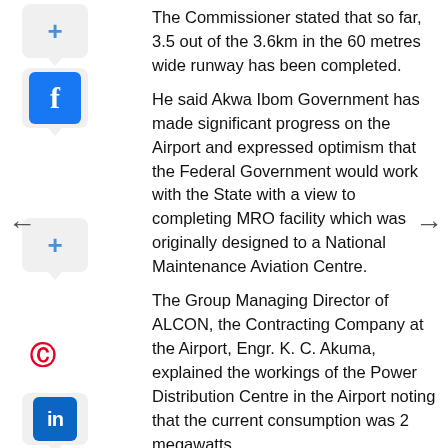Cargo Aircraft.
The Commissioner stated that so far, 3.5 out of the 3.6km in the 60 metres wide runway has been completed.
He said Akwa Ibom Government has made significant progress on the Airport and expressed optimism that the Federal Government would work with the State with a view to completing MRO facility which was originally designed to a National Maintenance Aviation Centre.
The Group Managing Director of ALCON, the Contracting Company at the Airport, Engr. K. C. Akuma, explained the workings of the Power Distribution Centre in the Airport noting that the current consumption was 2 megawatts.
He said the MRO, International Terminal building